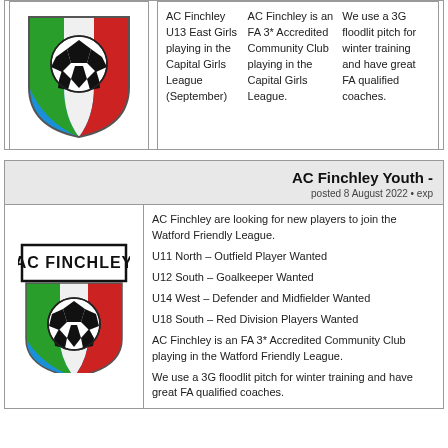[Figure (logo): AC Finchley football club crest - shield with Italian flag colors (green, white, red), black and white soccer ball, on blue background]
AC Finchley U13 East Girls playing in the Capital Girls League (September)

AC Finchley is an FA 3* Accredited Community Club playing in the Capital Girls League.

We use a 3G floodlit pitch for winter training and have great FA qualified coaches.
AC Finchley Youth -
posted 8 August 2022 • exp
[Figure (logo): AC Finchley football club logo - rectangular badge with AC FINCHLEY text, shield with Italian flag colors (green, white, red), black and white soccer ball, on blue background]
AC Finchley are looking for new players to join the Watford Friendly League.

U11 North – Outfield Player Wanted

U12 South – Goalkeeper Wanted

U14 West – Defender and Midfielder Wanted

U18 South – Red Division Players Wanted

AC Finchley is an FA 3* Accredited Community Club playing in the Watford Friendly League.

We use a 3G floodlit pitch for winter training and have great FA qualified coaches.